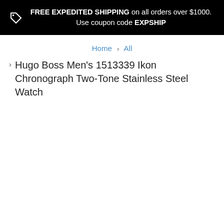FREE EXPEDITED SHIPPING on all orders over $1000. Use coupon code EXPSHIP
Home > All
Hugo Boss Men's 1513339 Ikon Chronograph Two-Tone Stainless Steel Watch